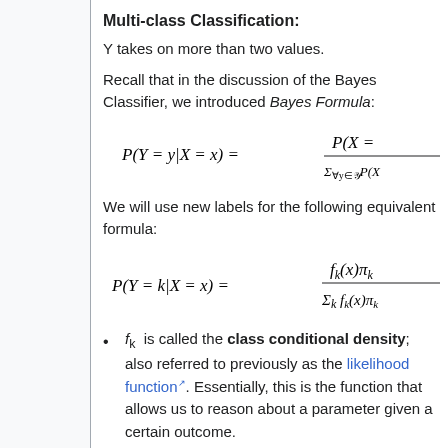Multi-class Classification:
Y takes on more than two values.
Recall that in the discussion of the Bayes Classifier, we introduced Bayes Formula:
We will use new labels for the following equivalent formula:
f_k is called the class conditional density; also referred to previously as the likelihood function. Essentially, this is the function that allows us to reason about a parameter given a certain outcome.
π_k is called the prior probability